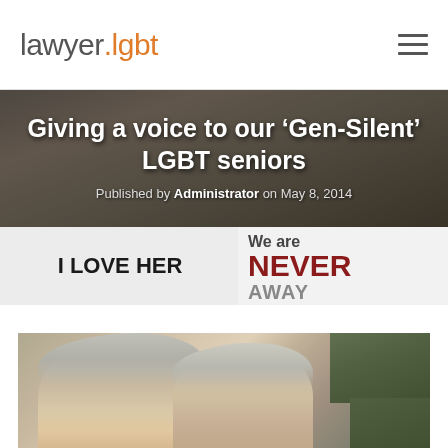lawyer.lgbt
[Figure (photo): Hero image of two elderly women embracing, holding signs reading 'I LOVE HER' and 'We are NEVER [GOING] AWAY', with overlaid title text]
Giving a voice to our ‘Gen-Silent’ LGBT seniors
Published by Administrator on May 8, 2014
[Figure (photo): Photograph of two elderly women, one with grey curly hair kissing or nuzzling the other who is wearing glasses, outdoors with greenery in background]